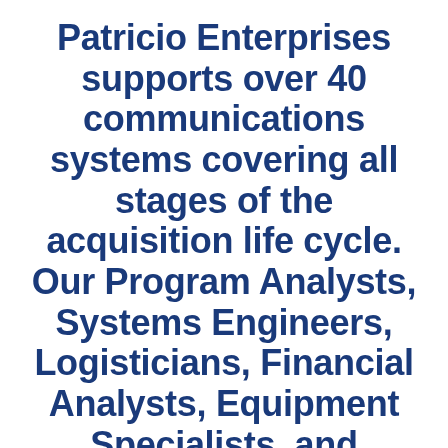Patricio Enterprises supports over 40 communications systems covering all stages of the acquisition life cycle. Our Program Analysts, Systems Engineers, Logisticians, Financial Analysts, Equipment Specialists, and Fielding Coordinators consistently deliver quality products that